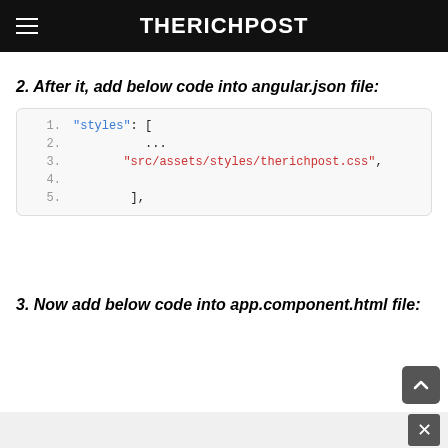THERICHPOST
2. After it, add below code into angular.json file:
[Figure (screenshot): Code block showing JSON snippet: "styles": [ ... "src/assets/styles/therichpost.css", ]]
3. Now add below code into app.component.html file: